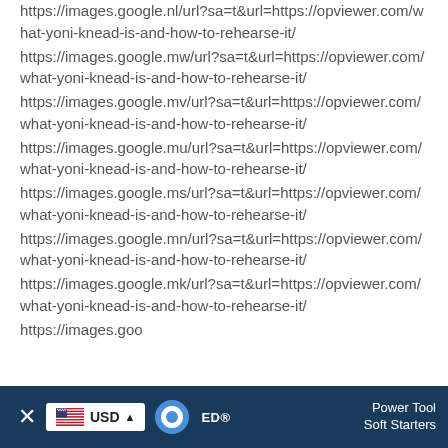https://images.google.nl/url?sa=t&url=https://opviewer.com/what-yoni-knead-is-and-how-to-rehearse-it/
https://images.google.mw/url?sa=t&url=https://opviewer.com/what-yoni-knead-is-and-how-to-rehearse-it/
https://images.google.mv/url?sa=t&url=https://opviewer.com/what-yoni-knead-is-and-how-to-rehearse-it/
https://images.google.mu/url?sa=t&url=https://opviewer.com/what-yoni-knead-is-and-how-to-rehearse-it/
https://images.google.ms/url?sa=t&url=https://opviewer.com/what-yoni-knead-is-and-how-to-rehearse-it/
https://images.google.mn/url?sa=t&url=https://opviewer.com/what-yoni-knead-is-and-how-to-rehearse-it/
https://images.google.mk/url?sa=t&url=https://opviewer.com/what-yoni-knead-is-and-how-to-rehearse-it/
https://images.goo
[Figure (screenshot): Browser footer bar with close button, USD currency selector with US flag, logo, and Power Tool / Soft Starters text on dark blue background]